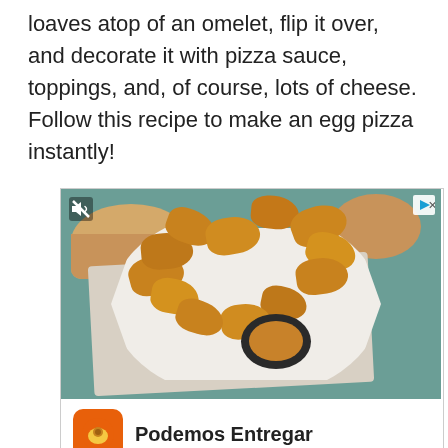loaves atop of an omelet, flip it over, and decorate it with pizza sauce, toppings, and, of course, lots of cheese. Follow this recipe to make an egg pizza instantly!
[Figure (photo): Advertisement showing fried chicken nuggets on a white octagonal plate with a dark dipping sauce cup containing orange sauce, bread rolls in the background on a teal table with a napkin. Below the image is an ad footer with Pollo Campero branding showing 'Podemos Entregar' and location info for Herndon 10AM-10PM.]